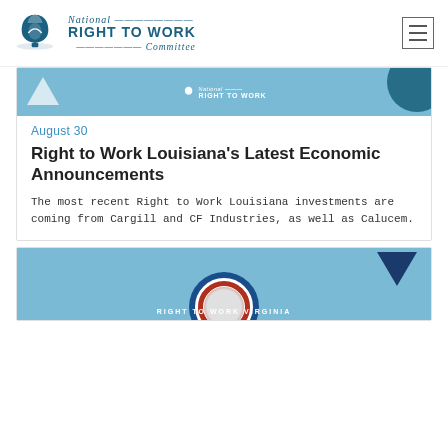National RIGHT TO WORK Committee
[Figure (illustration): Right to Work Louisiana article banner image with light blue background and logo]
August 30
Right to Work Louisiana's Latest Economic Announcements
The most recent Right to Work Louisiana investments are coming from Cargill and CF Industries, as well as Calucem.
[Figure (illustration): Right to Work Virginia article banner image with light blue background, Virginia state seal, and navy blue arrow and circle graphics]